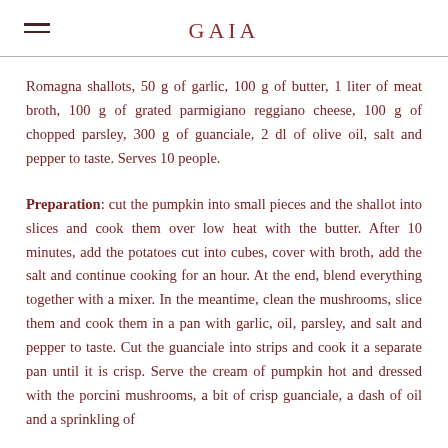GAIA
Romagna shallots, 50 g of garlic, 100 g of butter, 1 liter of meat broth, 100 g of grated parmigiano reggiano cheese, 100 g of chopped parsley, 300 g of guanciale, 2 dl of olive oil, salt and pepper to taste. Serves 10 people.
Preparation: cut the pumpkin into small pieces and the shallot into slices and cook them over low heat with the butter. After 10 minutes, add the potatoes cut into cubes, cover with broth, add the salt and continue cooking for an hour. At the end, blend everything together with a mixer. In the meantime, clean the mushrooms, slice them and cook them in a pan with garlic, oil, parsley, and salt and pepper to taste. Cut the guanciale into strips and cook it a separate pan until it is crisp. Serve the cream of pumpkin hot and dressed with the porcini mushrooms, a bit of crisp guanciale, a dash of oil and a sprinkling of